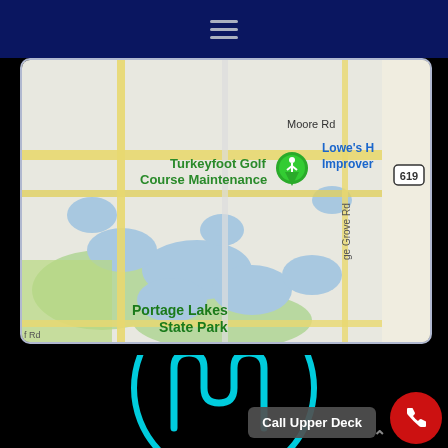[Figure (screenshot): Top navy blue header bar with hamburger menu icon (three horizontal lines)]
[Figure (map): Google Maps screenshot showing Turkeyfoot Golf Course Maintenance with green location pin, Portage Lakes State Park, Moore Rd, Lowe's Home Improvement, and highway 619 visible]
SITE NAVIGATION
[Figure (other): Hamburger menu icon (three horizontal lines) on black background]
[Figure (logo): Cyan circular logo with stylized 'M' or wave shape inside circle on black background]
Call Upper Deck
[Figure (other): Red circular phone call button with white phone icon]